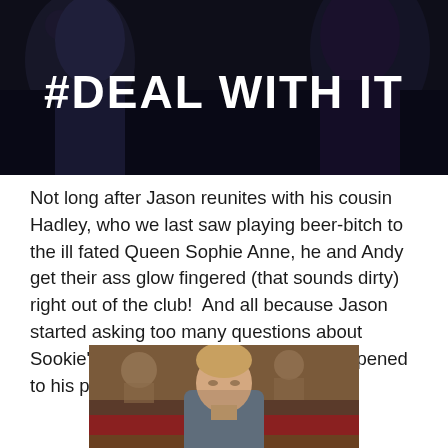[Figure (photo): Dark nightclub scene with people, overlaid with white bold text '#DEAL WITH IT']
Not long after Jason reunites with his cousin Hadley, who we last saw playing beer-bitch to the ill fated Queen Sophie Anne, he and Andy get their ass glow fingered (that sounds dirty) right out of the club!  And all because Jason started asking too many questions about Sookie's fairy roots, and what really happened to his parents.
[Figure (photo): Young man in a grey t-shirt sitting at a bar or restaurant, looking contemplative]